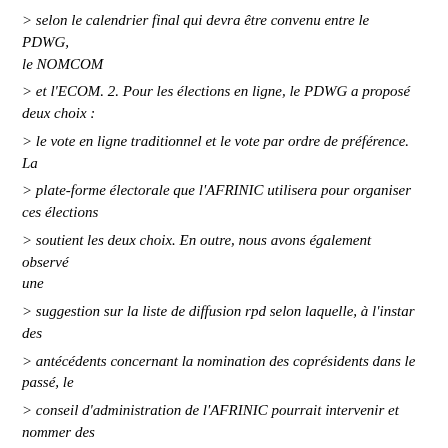> selon le calendrier final qui devra être convenu entre le PDWG, le NOMCOM
> et l'ECOM. 2. Pour les élections en ligne, le PDWG a proposé deux choix :
> le vote en ligne traditionnel et le vote par ordre de préférence. La
> plate-forme électorale que l'AFRINIC utilisera pour organiser ces élections
> soutient les deux choix. En outre, nous avons également observé une
> suggestion sur la liste de diffusion rpd selon laquelle, à l'instar des
> antécédents concernant la nomination des coprésidents dans le passé, le
> conseil d'administration de l'AFRINIC pourrait intervenir et nommer des
> copresidents intérimaires avec un consensus communautaire.